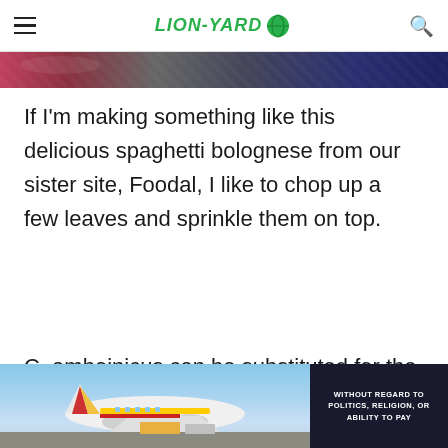LION-YARD
[Figure (photo): Partial banner image strip with red, grey, and dark blue tones]
If I'm making something like this delicious spaghetti bolognese from our sister site, Foodal, I like to chop up a few leaves and sprinkle them on top.
C. amboinicus can be substituted for the
[Figure (photo): Advertisement showing an airplane being loaded, with dark overlay badge reading WITHOUT REGARD TO POLITICS, RELIGION, OR ABILITY TO PAY]